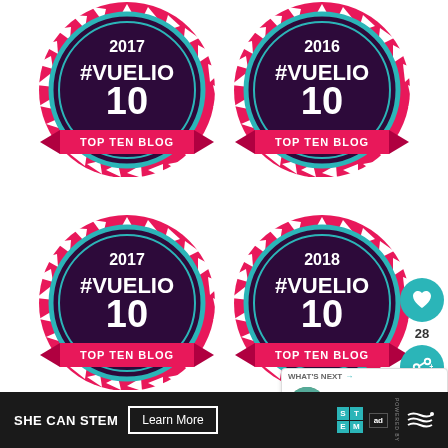[Figure (logo): Vuelio #Vuelio 10 Top Ten Blog badge for 2017, circular dark purple badge with pink serrated edge, cyan ring, pink ribbon banner]
[Figure (logo): Vuelio #Vuelio 10 Top Ten Blog badge for 2016, circular dark purple badge with pink serrated edge, cyan ring, pink ribbon banner]
[Figure (logo): Vuelio #Vuelio 10 Top Ten Blog badge for 2017, circular dark purple badge with pink serrated edge, cyan ring, pink ribbon banner]
[Figure (logo): Vuelio #Vuelio 10 Top Ten Blog badge for 2018, circular dark purple badge with pink serrated edge, cyan ring, pink ribbon banner, partially overlapped by whats-next widget]
28
WHAT'S NEXT → Splashworld, Southport
SHE CAN STEM Learn More